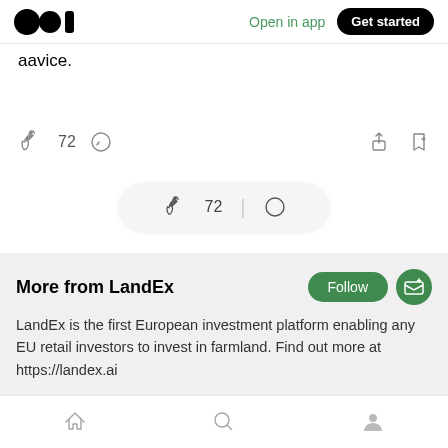Open in app | Get started
aavice.
72
[Figure (screenshot): Floating action bar with clap icon showing 72 and comment bubble icon]
More from LandEx
LandEx is the first European investment platform enabling any EU retail investors to invest in farmland. Find out more at https://landex.ai
Home | Search | Profile